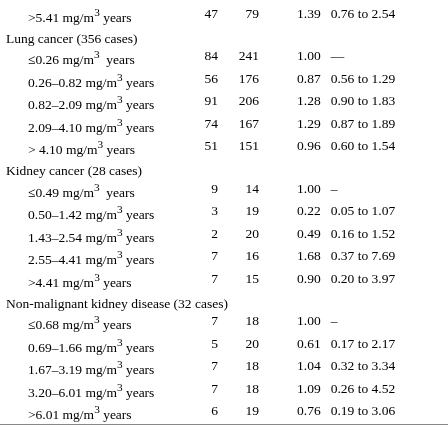| Exposure category | Cases | Controls | OR | 95% CI |  |
| --- | --- | --- | --- | --- | --- |
| >5.41 mg/m³ years | 47 | 79 | 1.39 | 0.76 to 2.54 |  |
| Lung cancer (356 cases) |  |  |  |  |  |
| ≤0.26 mg/m³ years | 84 | 241 | 1.00 | — |  |
| 0.26–0.82 mg/m³ years | 56 | 176 | 0.87 | 0.56 to 1.29 |  |
| 0.82–2.09 mg/m³ years | 91 | 206 | 1.28 | 0.90 to 1.83 |  |
| 2.09–4.10 mg/m³ years | 74 | 167 | 1.29 | 0.87 to 1.89 |  |
| > 4.10 mg/m³ years | 51 | 151 | 0.96 | 0.60 to 1.54 |  |
| Kidney cancer (28 cases) |  |  |  |  |  |
| ≤0.49 mg/m³ years | 9 | 14 | 1.00 | – |  |
| 0.50–1.42 mg/m³ years | 3 | 19 | 0.22 | 0.05 to 1.07 |  |
| 1.43–2.54 mg/m³ years | 2 | 20 | 0.49 | 0.16 to 1.52 |  |
| 2.55–4.41 mg/m³ years | 7 | 16 | 1.68 | 0.37 to 7.69 |  |
| >4.41 mg/m³ years | 7 | 15 | 0.90 | 0.20 to 3.97 |  |
| Non-malignant kidney disease (32 cases) |  |  |  |  |  |
| ≤0.68 mg/m³ years | 7 | 18 | 1.00 | – |  |
| 0.69–1.66 mg/m³ years | 5 | 20 | 0.61 | 0.17 to 2.17 |  |
| 1.67–3.19 mg/m³ years | 7 | 18 | 1.04 | 0.32 to 3.34 |  |
| 3.20–6.01 mg/m³ years | 7 | 18 | 1.09 | 0.26 to 4.52 |  |
| >6.01 mg/m³ years | 6 | 19 | 0.76 | 0.19 to 3.06 |  |